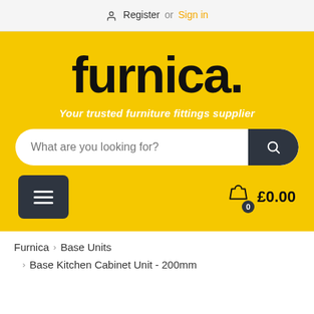Register or Sign in
furnica.
Your trusted furniture fittings supplier
What are you looking for?
£0.00
Furnica  ›  Base Units
›  Base Kitchen Cabinet Unit - 200mm